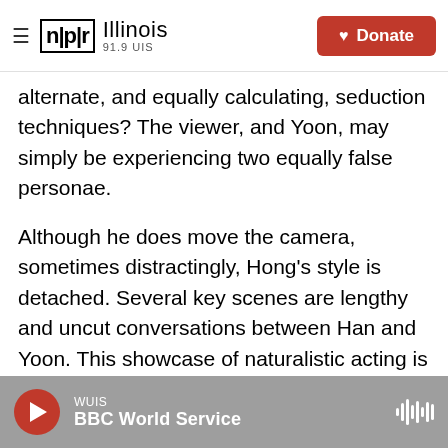NPR Illinois 91.9 UIS — Donate
alternate, and equally calculating, seduction techniques? The viewer, and Yoon, may simply be experiencing two equally false personae.
Although he does move the camera, sometimes distractingly, Hong's style is detached. Several key scenes are lengthy and uncut conversations between Han and Yoon. This showcase of naturalistic acting is doubled, since Jung and Kim must stay in character in two slightly different modes.
Of today's notable Korean directors, Hong is the least inclined toward gore and the most attuned to
WUIS — BBC World Service